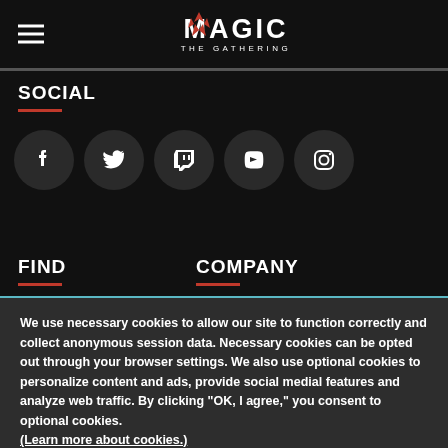Magic: The Gathering
SOCIAL
[Figure (illustration): Five social media icon buttons in dark circles: Facebook, Twitter, Twitch, YouTube, Instagram]
FIND
COMPANY
We use necessary cookies to allow our site to function correctly and collect anonymous session data. Necessary cookies can be opted out through your browser settings. We also use optional cookies to personalize content and ads, provide social medial features and analyze web traffic. By clicking “OK, I agree,” you consent to optional cookies. (Learn more about cookies.)